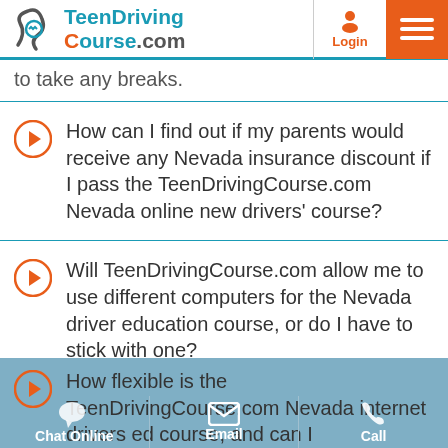TeenDrivingCourse.com
to take any breaks.
How can I find out if my parents would receive any Nevada insurance discount if I pass the TeenDrivingCourse.com Nevada online new drivers' course?
Will TeenDrivingCourse.com allow me to use different computers for the Nevada driver education course, or do I have to stick with one?
How flexible is the TeenDrivingCourse.com Nevada internet drivers ed course, and can I
Chat Online  Email  Call